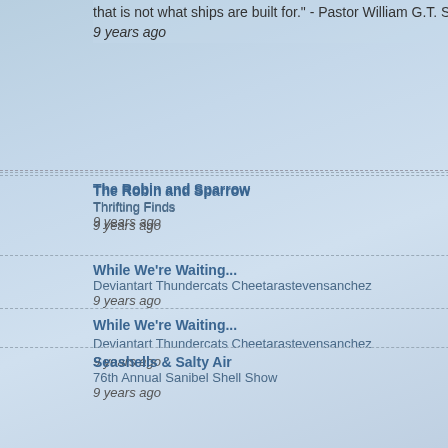that is not what ships are built for." - Pastor William G.T. Shedd
9 years ago
Left by Shellbelle at 10:52
Labels: 9-11, community s...
FRIDAY, SEPTEMBER 11
In Rememberance
The Robin and Sparrow
Thrifting Finds
9 years ago
While We're Waiting...
Deviantart Thundercats Cheetarastevensanchez
9 years ago
Seashells & Salty Air
76th Annual Sanibel Shell Show
9 years ago
Going A Little Coastal
Catching Up
9 years ago
Emerald Cove
Happy New Year
9 years ago
My Shabby Streamside Studio